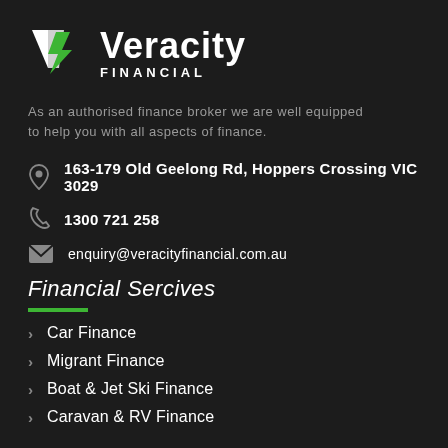[Figure (logo): Veracity Financial logo with white V shape and green leaf/lightning bolt emblem, company name in white bold text, FINANCIAL in white spaced caps below]
As an authorised finance broker we are well equipped to help you with all aspects of finance.
163-179 Old Geelong Rd, Hoppers Crossing VIC 3029
1300 721 258
enquiry@veracityfinancial.com.au
Financial Sercives
Car Finance
Migrant Finance
Boat & Jet Ski Finance
Caravan & RV Finance